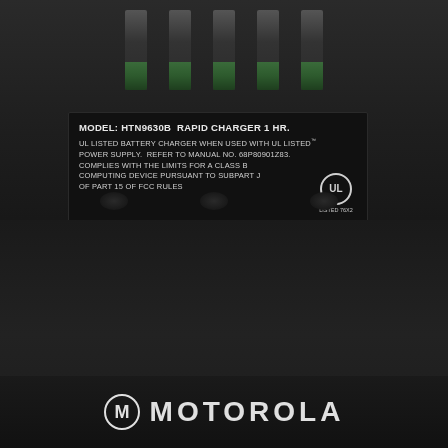[Figure (photo): Photograph of Motorola HTN9630B Rapid Battery Charger showing the top connector pins with green plastic inserts, a black label plate with product specifications and UL listing information, and the Motorola logo at the bottom.]